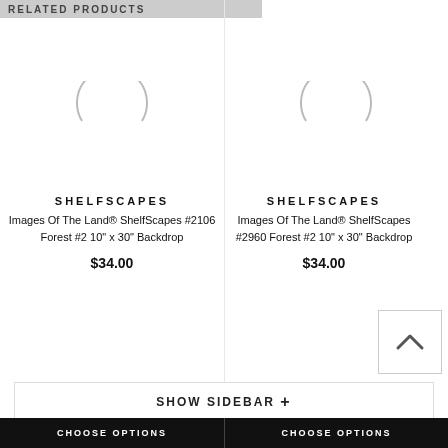RELATED PRODUCTS
[Figure (photo): Product image loading spinner (left product)]
[Figure (photo): Product image loading spinner (right product)]
SHELFSCAPES
Images Of The Land® ShelfScapes #2106 Forest #2 10" x 30" Backdrop
$34.00
SHELFSCAPES
Images Of The Land® ShelfScapes #2960 Forest #2 10" x 30" Backdrop
$34.00
SHOW SIDEBAR +
CHOOSE OPTIONS
CHOOSE OPTIONS